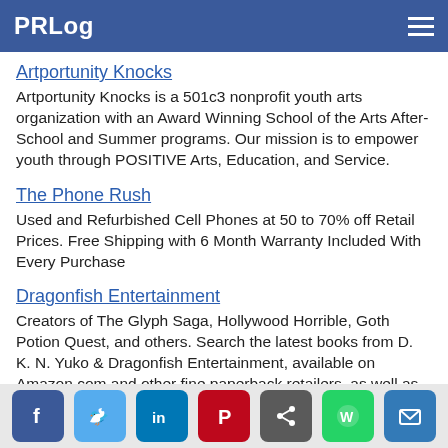PRLog
Artportunity Knocks
Artportunity Knocks is a 501c3 nonprofit youth arts organization with an Award Winning School of the Arts After-School and Summer programs. Our mission is to empower youth through POSITIVE Arts, Education, and Service.
The Phone Rush
Used and Refurbished Cell Phones at 50 to 70% off Retail Prices. Free Shipping with 6 Month Warranty Included With Every Purchase
Dragonfish Entertainment
Creators of The Glyph Saga, Hollywood Horrible, Goth Potion Quest, and others. Search the latest books from D. K. N. Yuko & Dragonfish Entertainment, available on Amazon.com and other fine paperback retailers, as well as ebooks by Smashwords.
BedRyder, Inc.
BedRyder Inc. is the manufacturer of a removeable truck bed seating device that allows a truck owner to quickly add additional passenger seating to their vehicle. The system can be completely